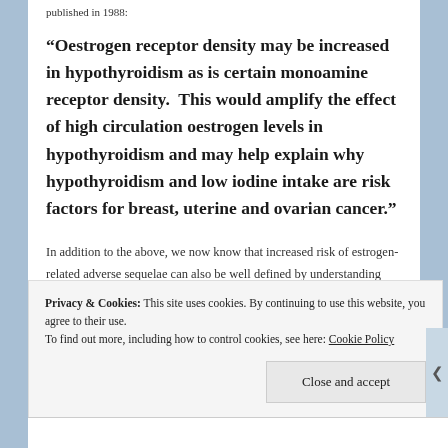published in 1988:
“Oestrogen receptor density may be increased in hypothyroidism as is certain monoamine receptor density.  This would amplify the effect of high circulation oestrogen levels in hypothyroidism and may help explain why hypothyroidism and low iodine intake are risk factors for breast, uterine and ovarian cancer.”
In addition to the above, we now know that increased risk of estrogen-related adverse sequelae can also be well defined by understanding how estrogen forms such as estrone are
Privacy & Cookies: This site uses cookies. By continuing to use this website, you agree to their use.
To find out more, including how to control cookies, see here: Cookie Policy
Close and accept